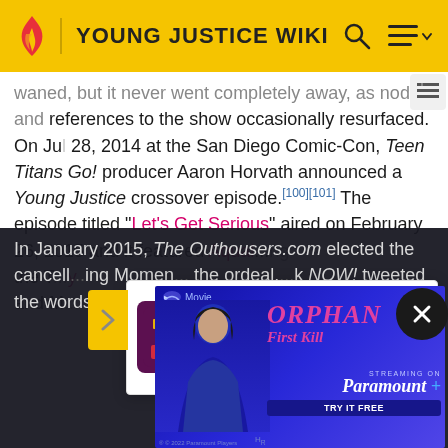YOUNG JUSTICE WIKI
waned, but it never went completely away, as nods and references to the show occasionally resurfaced. On July 28, 2014 at the San Diego Comic-Con, Teen Titans Go! producer Aaron Horvath announced a Young Justice crossover episode.[100][101] The episode titled "Let's Get Serious" aired on February 26, 2015 and it featured Aqua[...] ng the T[...] y and M[...]
[Figure (screenshot): Watermelon survey popup: 'Watermelon survey … What do you think about Harry Styles?' with 'TAKE THE SURVEY HERE' CTA and colorful icon]
In January 2015, The Outhousers.com elected the cancell[...] ing Momen[...] the ordeal.[...] k NOW! tweeted the words "Renew Young Justice" attached
[Figure (screenshot): Orphan: First Kill movie advertisement banner - Streaming on Paramount+ Try It Free]